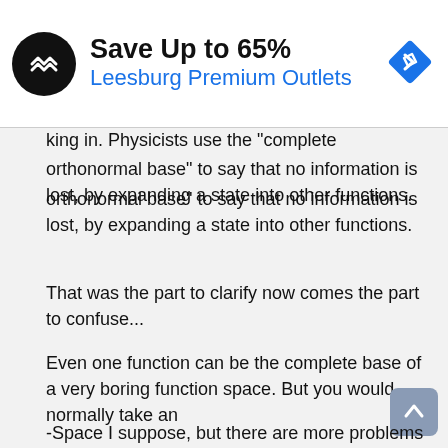[Figure (other): Advertisement banner: black circular logo with double-headed arrow symbol, text 'Save Up to 65%' in bold black and 'Leesburg Premium Outlets' in blue, blue diamond navigation icon on right]
king in. Physicists use the "complete orthonormal base" to say that no information is lost, by expanding a state into other functions.
That was the part to clarify now comes the part to confuse...
Even one function can be the complete base of a very boring function space. But you would normally take an
-Space I suppose, but there are more problems